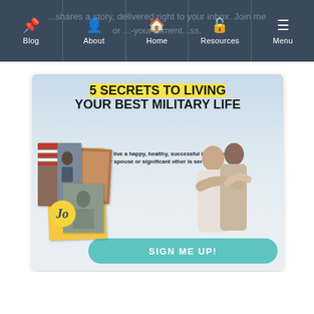Blog | About | Home | Resources | Menu
...shares a story, delivered right to your inbox. Join me or ...-your-...ment...ss.
[Figure (illustration): Promotional banner for '5 Secrets to Living Your Best Military Life'. Features sky background, photo collage with flag and couple images, Jo circle logo, subtitle 'You can live a happy, healthy, successful life while your spouse or significant other is serving.', and a teal 'SIGN ME UP!' button at the bottom.]